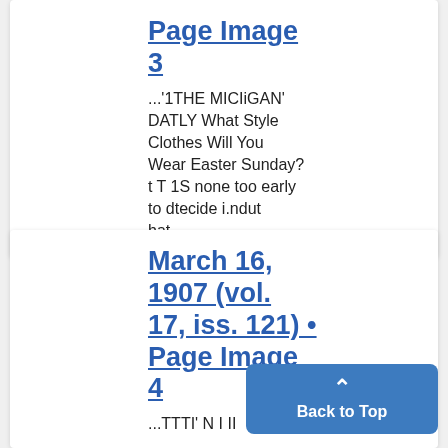Page Image 3
...'1THE MICIiGAN' DATLY What Style Clothes Will You Wear Easter Sunday? t T 1S none too early to dtecide i.ndut hat...
March 16, 1907 (vol. 17, iss. 121) • Page Image 4
...TTTI' N I II